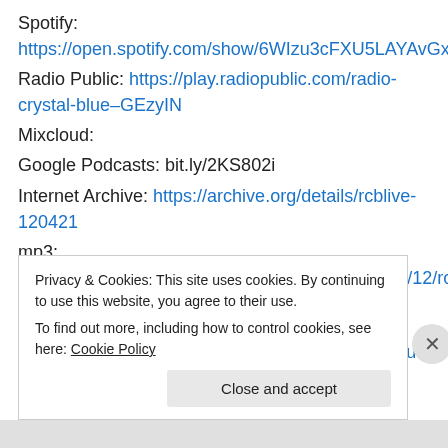Spotify: https://open.spotify.com/show/6WIzu3cFXU5LAYAvGx4u4T
Radio Public: https://play.radiopublic.com/radio-crystal-blue–GEzyIN
Mixcloud:
Google Podcasts: bit.ly/2KS802i
Internet Archive: https://archive.org/details/rcblive-120421
mp3: https://radiocrystalblue.files.wordpress.com/2021/12/rcblive120421.mp3
Player.fm: https://player.fm/series/radio-crystal-blue
Privacy & Cookies: This site uses cookies. By continuing to use this website, you agree to their use. To find out more, including how to control cookies, see here: Cookie Policy
Close and accept